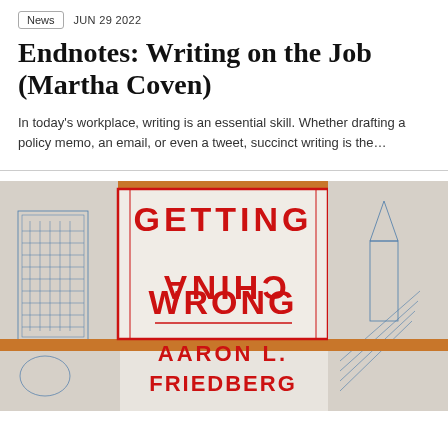News  JUN 29 2022
Endnotes: Writing on the Job (Martha Coven)
In today's workplace, writing is an essential skill. Whether drafting a policy memo, an email, or even a tweet, succinct writing is the…
[Figure (photo): Book cover of 'Getting China Wrong' by Aaron L. Friedberg, showing bold red text on a light background with architectural/city illustrations in blue and orange accents.]